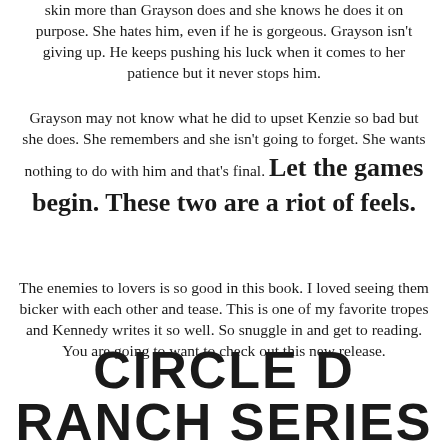skin more than Grayson does and she knows he does it on purpose. She hates him, even if he is gorgeous. Grayson isn't giving up. He keeps pushing his luck when it comes to her patience but it never stops him.
Grayson may not know what he did to upset Kenzie so bad but she does. She remembers and she isn't going to forget. She wants nothing to do with him and that's final. Let the games begin. These two are a riot of feels.
The enemies to lovers is so good in this book. I loved seeing them bicker with each other and tease. This is one of my favorite tropes and Kennedy writes it so well. So snuggle in and get to reading. You are going to want to check out this new release.
CIRCLE D RANCH SERIES